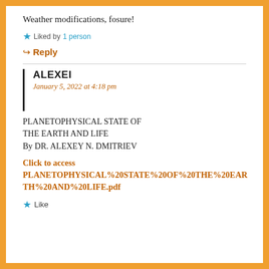Weather modifications, fosure!
Liked by 1 person
Reply
ALEXEI
January 5, 2022 at 4:18 pm
PLANETOPHYSICAL STATE OF THE EARTH AND LIFE
By DR. ALEXEY N. DMITRIEV
Click to access PLANETOPHYSICAL%20STATE%20OF%20THE%20EARTH%20AND%20LIFE.pdf
Like